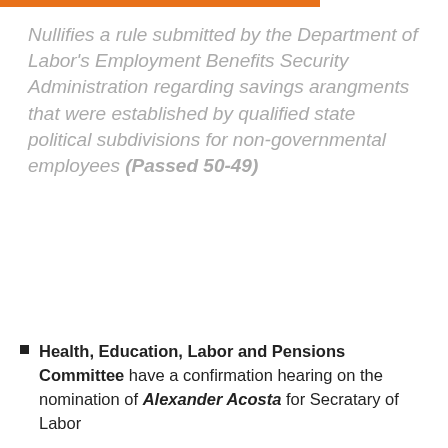Nullifies a rule submitted by the Department of Labor's Employment Benefits Security Administration regarding savings arangments that were established by qualified state political subdivisions for non-governmental employees (Passed 50-49)
Health, Education, Labor and Pensions Committee have a confirmation hearing on the nomination of Alexander Acosta for Secratary of Labor